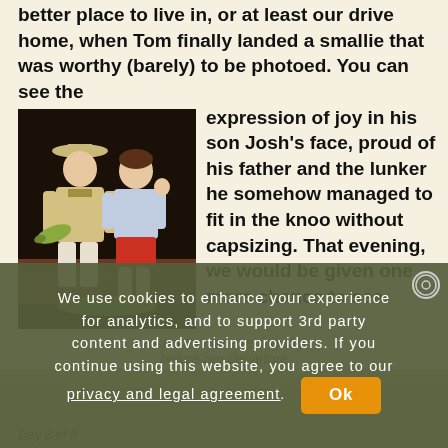better place to live in, or at least our drive home, when Tom finally landed a smallie that was worthy (barely) to be photoed. You can see the expression of joy in his son Josh's face, proud of his father and the lunker he somehow managed to fit in the knoo without capsizing. That evening, we would be given one more chance to see
[Figure (photo): Two men standing outdoors at night, one wearing a hat and life vest holding a fish, the other in a red shirt giving a thumbs up]
a spectacular evening sky before our departure
We use cookies to enhance your experience for analytics, and to support 3rd party content and advertising providers. If you continue using this website, you agree to our privacy and legal agreement.
Day 8 of 8